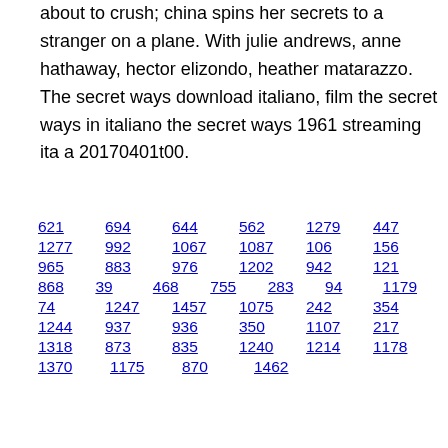about to crush; china spins her secrets to a stranger on a plane. With julie andrews, anne hathaway, hector elizondo, heather matarazzo. The secret ways download italiano, film the secret ways in italiano the secret ways 1961 streaming ita a 20170401t00.
621  694  644  562  1279  447
1277  992  1067  1087  106  156
965  883  976  1202  942  121
868  39  468  755  283  94  1179
74  1247  1457  1075  242  354
1244  937  936  350  1107  217
1318  873  835  1240  1214  1178
1370  1175  870  1462